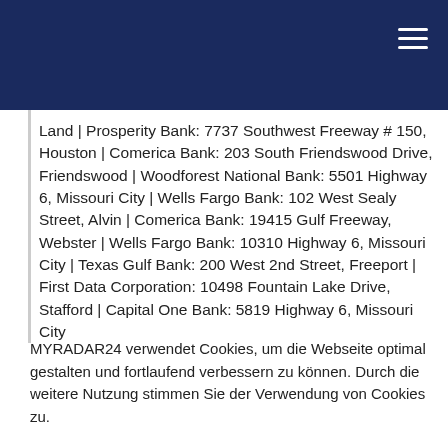Land | Prosperity Bank: 7737 Southwest Freeway # 150, Houston | Comerica Bank: 203 South Friendswood Drive, Friendswood | Woodforest National Bank: 5501 Highway 6, Missouri City | Wells Fargo Bank: 102 West Sealy Street, Alvin | Comerica Bank: 19415 Gulf Freeway, Webster | Wells Fargo Bank: 10310 Highway 6, Missouri City | Texas Gulf Bank: 200 West 2nd Street, Freeport | First Data Corporation: 10498 Fountain Lake Drive, Stafford | Capital One Bank: 5819 Highway 6, Missouri City
MYRADAR24 verwendet Cookies, um die Webseite optimal gestalten und fortlaufend verbessern zu können. Durch die weitere Nutzung stimmen Sie der Verwendung von Cookies zu.
OK